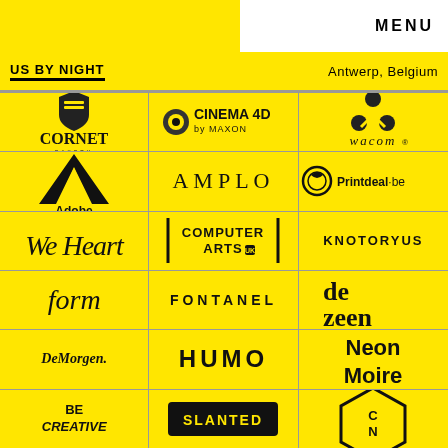MENU
US BY NIGHT | Antwerp, Belgium
[Figure (logo): Cornet Bakery logo]
[Figure (logo): Cinema 4D by Maxon logo]
[Figure (logo): Wacom logo]
[Figure (logo): Adobe logo]
[Figure (logo): AMPLO logo]
[Figure (logo): Printdeal.be logo]
[Figure (logo): We Heart logo]
[Figure (logo): Computer Arts logo]
[Figure (logo): KNOTORYUS logo]
[Figure (logo): form logo]
[Figure (logo): FONTANEL logo]
[Figure (logo): dezeen logo]
[Figure (logo): DeMorgen. logo]
[Figure (logo): HUMO logo]
[Figure (logo): Neon Moire logo]
[Figure (logo): BE CREATIVE logo]
[Figure (logo): SLANTED logo]
[Figure (logo): CN logo (partial)]